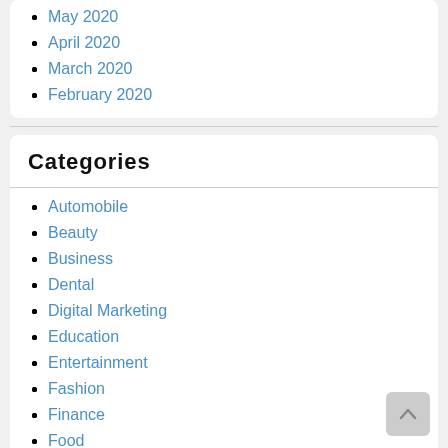May 2020
April 2020
March 2020
February 2020
Categories
Automobile
Beauty
Business
Dental
Digital Marketing
Education
Entertainment
Fashion
Finance
Food
Games
General
Health
Home